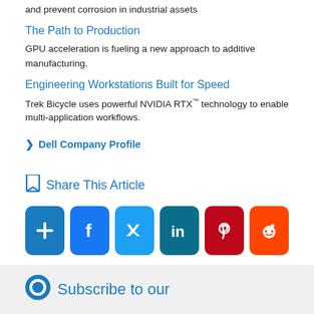and prevent corrosion in industrial assets
The Path to Production
GPU acceleration is fueling a new approach to additive manufacturing.
Engineering Workstations Built for Speed
Trek Bicycle uses powerful NVIDIA RTX™ technology to enable multi-application workflows.
❯ Dell Company Profile
Share This Article
[Figure (other): Social share buttons: Google+, Facebook, Twitter, LinkedIn, Pinterest, Reddit]
Subscribe to our